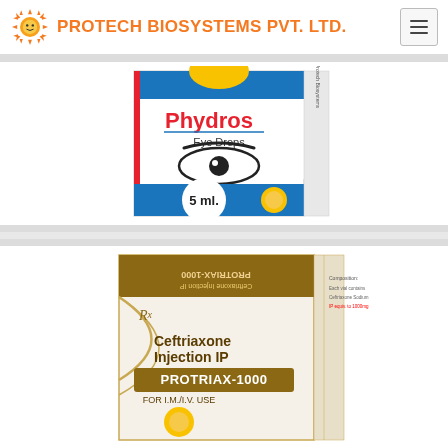PROTECH BIOSYSTEMS PVT. LTD.
[Figure (photo): Phydros Eye Drops 5ml product box showing an eye illustration and brand name]
[Figure (photo): PROTRIAX-1000 Ceftriaxone Injection IP product box for I.M./I.V. use]